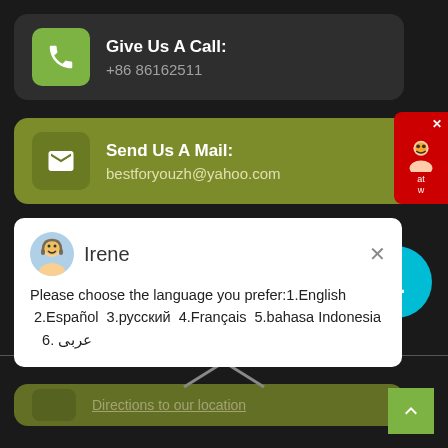Give Us A Call: +86 86162511
Send Us A Mail: bestforyouzh@yahoo.com
Irene
Please choose the language you prefer:1.English  2.Español  3.русский  4.Français  5.bahasa Indonesia   6. عربی
1
Directions to our location